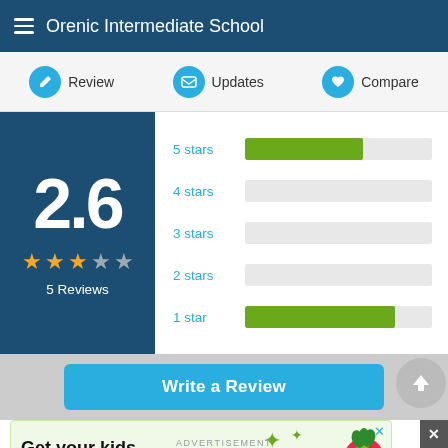Orenic Intermediate School
Review | Updates | Compare
[Figure (bar-chart): Rating breakdown]
2.6
5 Reviews
Write a Review
[Figure (infographic): Advertisement: Get your kids into coding! with raspberry pi logo and sparkle/globe icons]
ADVERTISEMENT